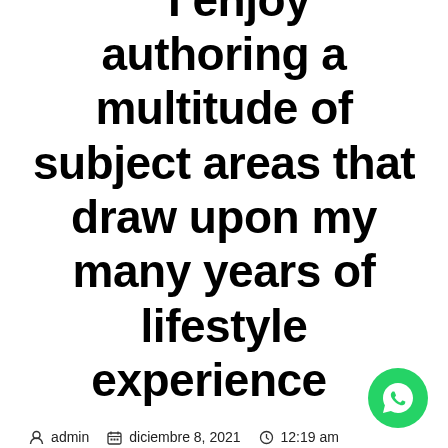I enjoy authoring a multitude of subject areas that draw upon my many years of lifestyle experience
admin   diciembre 8, 2021   12:19 am
[Figure (logo): WhatsApp logo — green circle with white phone handset icon]